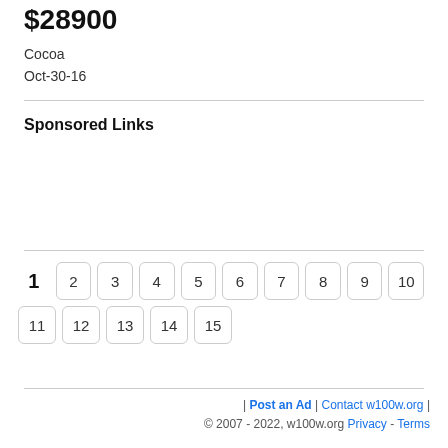$28900
Cocoa
Oct-30-16
Sponsored Links
1 2 3 4 5 6 7 8 9 10 11 12 13 14 15
| Post an Ad | Contact w100w.org | © 2007 - 2022, w100w.org Privacy - Terms